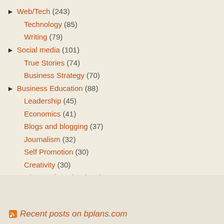► Web/Tech (243)
Technology (85)
Writing (79)
► Social media (101)
True Stories (74)
Business Strategy (70)
► Business Education (88)
Leadership (45)
Economics (41)
Blogs and blogging (37)
Journalism (32)
Self Promotion (30)
Creativity (30)
► Business Financing (183)
Rants (22)
Videos (14)
Consulting (6)
Recent posts on bplans.com